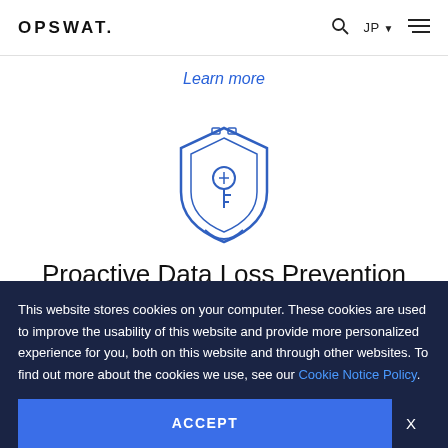OPSWAT.
Learn more
[Figure (illustration): Shield icon with a key inside, drawn in blue outline style representing data loss prevention security]
Proactive Data Loss Prevention (Proactive DLP)
This website stores cookies on your computer. These cookies are used to improve the usability of this website and provide more personalized experience for you, both on this website and through other websites. To find out more about the cookies we use, see our Cookie Notice Policy.
ACCEPT
X